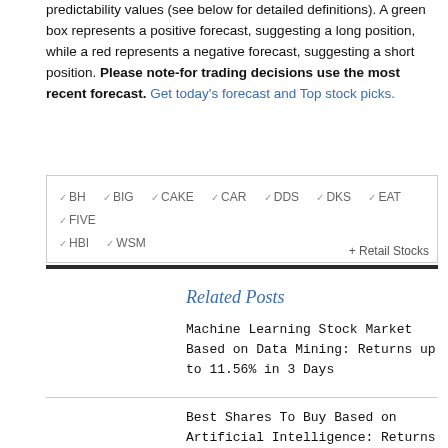predictability values (see below for detailed definitions). A green box represents a positive forecast, suggesting a long position, while a red represents a negative forecast, suggesting a short position. Please note-for trading decisions use the most recent forecast. Get today's forecast and Top stock picks.
BH  BIG  CAKE  CAR  DDS  DKS  EAT  FIVE  HBI  WSM  + Retail Stocks
Related Posts
Machine Learning Stock Market Based on Data Mining: Returns up to 11.56% in 3 Days
Best Shares To Buy Based on Artificial Intelligence: Returns up to 29.91% in 1 Month